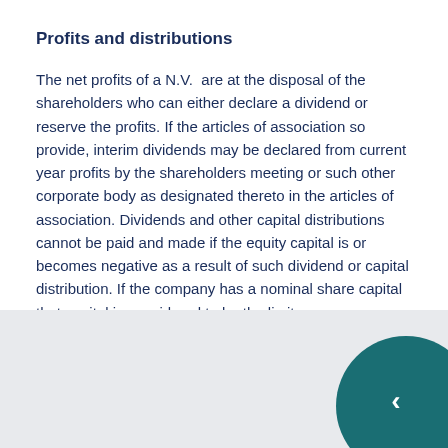Profits and distributions
The net profits of a N.V. are at the disposal of the shareholders who can either declare a dividend or reserve the profits. If the articles of association so provide, interim dividends may be declared from current year profits by the shareholders meeting or such other corporate body as designated thereto in the articles of association. Dividends and other capital distributions cannot be paid and made if the equity capital is or becomes negative as a result of such dividend or capital distribution. If the company has a nominal share capital that capital is considered to be the limit.